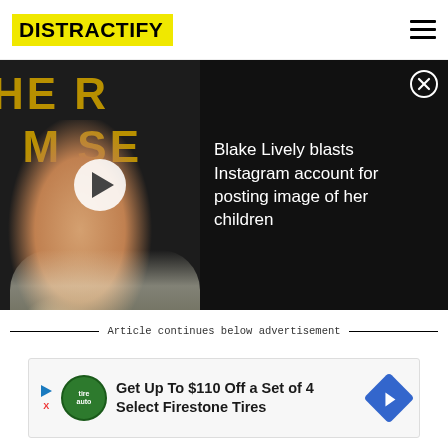DISTRACTIFY
[Figure (screenshot): Video banner showing Blake Lively at an event with gold text 'HE R M SE' in background and a play button overlay. Text reads: Blake Lively blasts Instagram account for posting image of her children. Close button (X) in top right.]
Article continues below advertisement
[Figure (infographic): Advertisement banner: Get Up To $110 Off a Set of 4 Select Firestone Tires. Shows Firestone Auto Care logo, play/skip controls, and blue diamond arrow icon.]